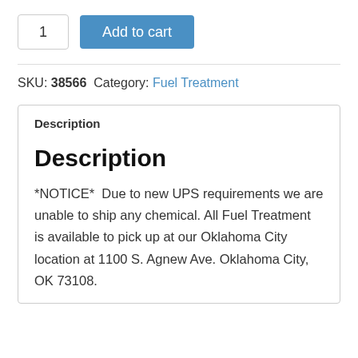1  Add to cart
SKU: 38566  Category: Fuel Treatment
Description
Description
*NOTICE*  Due to new UPS requirements we are unable to ship any chemical. All Fuel Treatment is available to pick up at our Oklahoma City location at 1100 S. Agnew Ave. Oklahoma City, OK 73108.